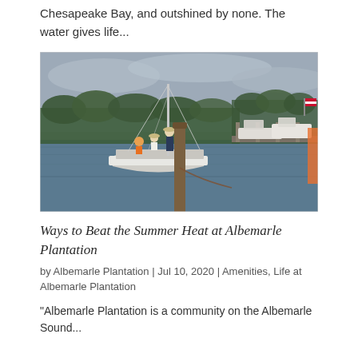Chesapeake Bay, and outshined by none. The water gives life...
[Figure (photo): A white sailboat docked at a marina on calm water, with people on board, trees and other boats in the background, and a wooden piling in the foreground. Overcast sky.]
Ways to Beat the Summer Heat at Albemarle Plantation
by Albemarle Plantation | Jul 10, 2020 | Amenities, Life at Albemarle Plantation
"Albemarle Plantation is a community on the Albemarle Sound...